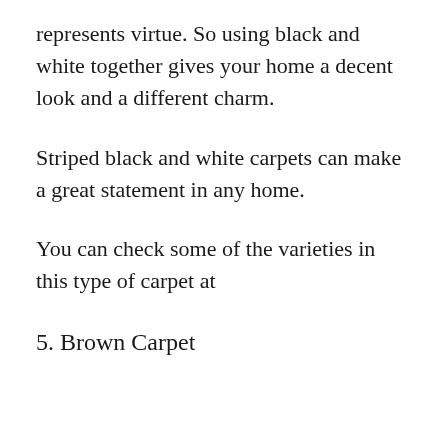represents virtue. So using black and white together gives your home a decent look and a different charm.
Striped black and white carpets can make a great statement in any home.
You can check some of the varieties in this type of carpet at
5. Brown Carpet